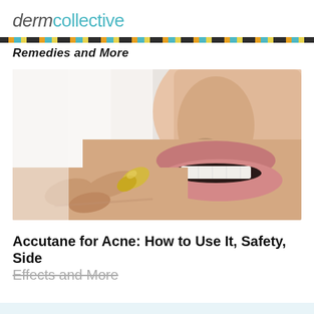dermcollective
Remedies and More
[Figure (photo): Close-up of a person placing a yellow pill/capsule into their mouth, hand holding the pill, white background.]
Accutane for Acne: How to Use It, Safety, Side Effects and More